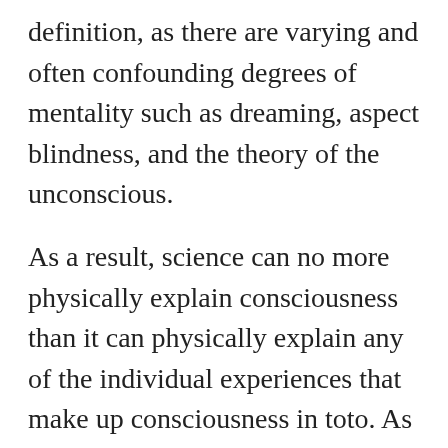definition, as there are varying and often confounding degrees of mentality such as dreaming, aspect blindness, and the theory of the unconscious.
As a result, science can no more physically explain consciousness than it can physically explain any of the individual experiences that make up consciousness in toto. As if it could physically explain what disgust is, or virtue is, or what kind of tea tastes good.
Still, many including Philip Goff are now jumping on the panpsychist bandwagon, declaring that this philosophical theory offers a breakthrough pathway toward developing a